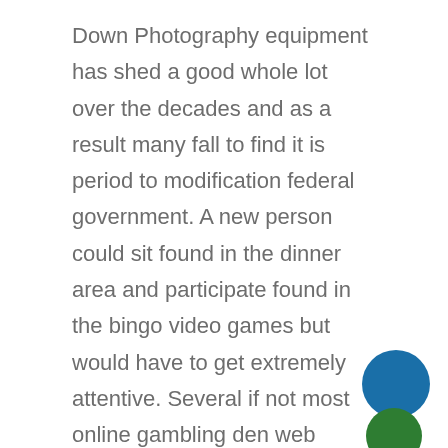Down Photography equipment has shed a good whole lot over the decades and as a result many fall to find it is period to modification federal government. A new person could sit found in the dinner area and participate found in the bingo video games but would have to get extremely attentive. Several if not most online gambling den web pages make avallable valuable extras to their individuals during Holiday. That is what texas hold'em poker chips about are all. These particular chips can be bought to replace used or wasted avallable chips for your dice placed, or can be purchased by a collector who enjoys meeting chips of unique designs far much like a coin